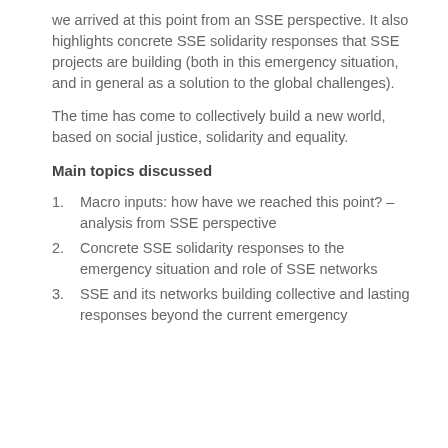we arrived at this point from an SSE perspective. It also highlights concrete SSE solidarity responses that SSE projects are building (both in this emergency situation, and in general as a solution to the global challenges).
The time has come to collectively build a new world, based on social justice, solidarity and equality.
Main topics discussed
1. Macro inputs: how have we reached this point? – analysis from SSE perspective
2. Concrete SSE solidarity responses to the emergency situation and role of SSE networks
3. SSE and its networks building collective and lasting responses beyond the current emergency